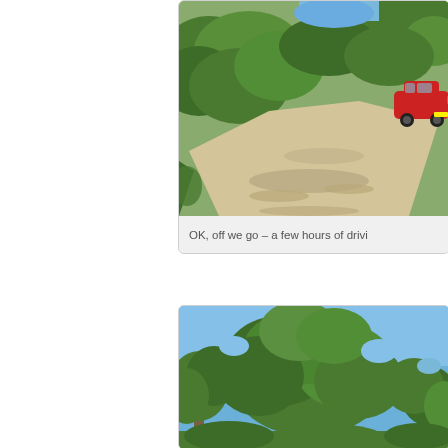[Figure (photo): A red car driving along a sandy dirt road through dense green bushland/scrub. The car is seen from behind, heading away from the camera.]
OK, off we go – a few hours of drivi
[Figure (photo): Large trees with spreading canopies against a bright blue sky, appearing to be Australian eucalyptus or similar native trees in a bushland setting.]